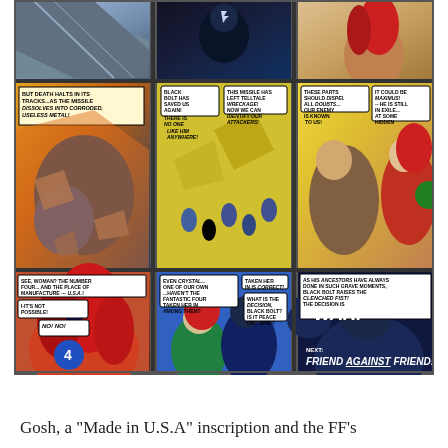[Figure (illustration): Comic book page showing 9 panels (3x3 grid) featuring Marvel Inhumans characters including Black Bolt, Medusa, Crystal, and others. Panels show action sequences with speech bubbles: 'But death halts in its tracks...as the missile dissolves into corroded, useless metal!', 'Black Bolt has saved us again! There is no one like him anywhere!', 'This missile has left telltale wreckage! Now we can identify our attackers!', 'These parts should dispel all doubts...our enemy is known to us!', 'It could be Maximus!...He is still in exile...at some hidden sanctuary!', 'See, woman? The number four...and the place of manufacture --- U.S.A.!', 'I-It's not possible! No! No!', 'Even Crystal...one of our own...haven't the Fantastic Four taken her in among them?', 'Taken her in is correct! What is the decision, Black Bolt? Is it peace or...war?', 'As his ancestors have always done in such grave moments, Black Bolt raises the clenched fist! The decision is WAR!', 'Next: Friend against Friend!']
Gosh, a “Made in U.S.A” inscription and the FF’s